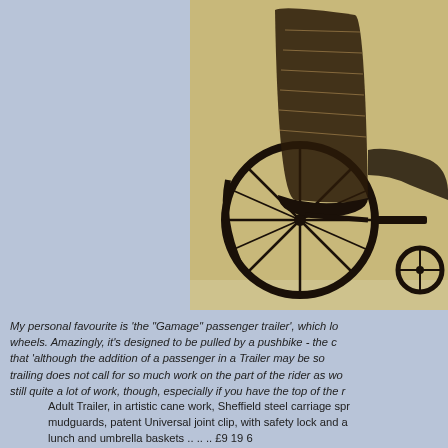[Figure (photo): Old photograph on golden-yellow background of a wicker/cane passenger trailer designed to be pulled by a pushbike, shown at an angle. It has large spoked wheels, a high wicker back, and a footrest extension on the right side.]
My personal favourite is 'the "Gamage" passenger trailer', which looks like a wheelchair on wheels. Amazingly, it's designed to be pulled by a pushbike - the catalogue claims that 'although the addition of a passenger in a Trailer may be somewhat heavy, trailer-trailing does not call for so much work on the part of the rider as would be imagined'. It's still quite a lot of work, though, especially if you have the top of the road...
Adult Trailer, in artistic cane work, Sheffield steel carriage springs, mudguards, patent Universal joint clip, with safety lock and ar... lunch and umbrella baskets .. .. .. £9 19 6